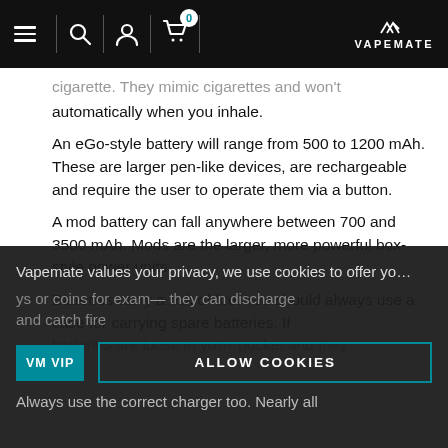[Figure (screenshot): Website header navigation bar with hamburger menu, search icon, account icon, shopping cart with badge showing 0, and VAPEMATE logo on dark background]
cigarette. They mimic cigarettes and work automatically when you inhale. An eGo-style battery will range from 500 to 1200 mAh. These are larger pen-like devices, are rechargeable and require the user to operate them via a button. A mod battery can fall anywhere between 700 and 3500 mAh. Mods are the larger, more powerful box-style power units. Batteries carry a risk of fire. You should always use a case for carrying spare batteries. If batteries are loose in your pocket and they ...ys or coins for example – they can discharge and catch fire... Always use the correct charger too. Nearly all
Vapemate values your privacy, we use cookies to offer yo…
ALLOW COOKIES